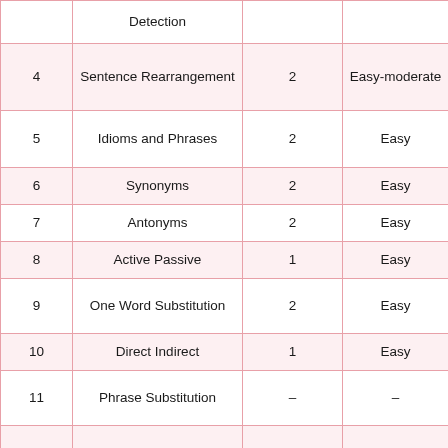|  | Detection |  |  |
| --- | --- | --- | --- |
| 4 | Sentence Rearrangement | 2 | Easy-moderate |
| 5 | Idioms and Phrases | 2 | Easy |
| 6 | Synonyms | 2 | Easy |
| 7 | Antonyms | 2 | Easy |
| 8 | Active Passive | 1 | Easy |
| 9 | One Word Substitution | 2 | Easy |
| 10 | Direct Indirect | 1 | Easy |
| 11 | Phrase Substitution | - | - |
| 12 | Spelling Correction | 2 | Easy |
| 13 | Cloze Test Passage | 5 | Easy-moderate |
|  | Total | 25 | Easy |